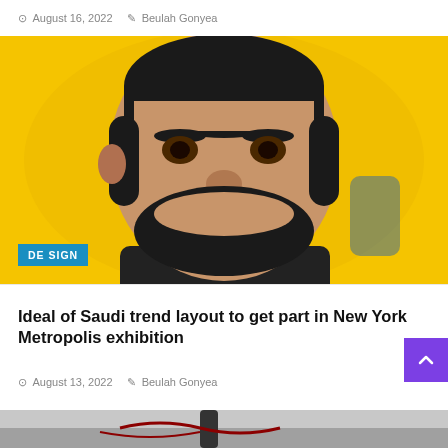August 16, 2022  Beulah Gonyea
[Figure (photo): Close-up portrait photo of a smiling bearded man with a yellow background, wearing a black shirt. A teal/blue label reads DESIGN in the lower left corner.]
Ideal of Saudi trend layout to get part in New York Metropolis exhibition
August 13, 2022  Beulah Gonyea
[Figure (photo): Partial bottom photo showing what appears to be fabric or clothing with dark and red elements on a grey background.]